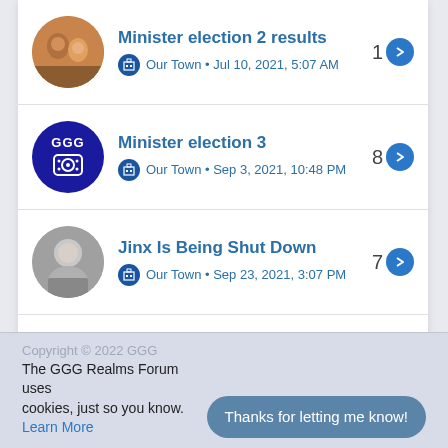Minister election 2 results — Our Town • Jul 10, 2021, 5:07 AM — 1
Minister election 3 — Our Town • Sep 3, 2021, 10:48 PM — 8
Jinx Is Being Shut Down — Our Town • Sep 23, 2021, 3:07 PM — 7
Copyright © 2022 GGG
The GGG Realms Forum uses cookies, just so you know. Learn More
Thanks for letting me know!